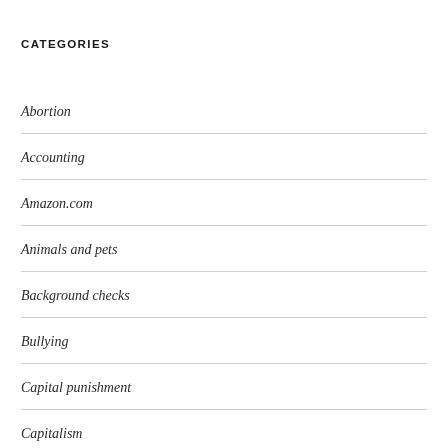CATEGORIES
Abortion
Accounting
Amazon.com
Animals and pets
Background checks
Bullying
Capital punishment
Capitalism